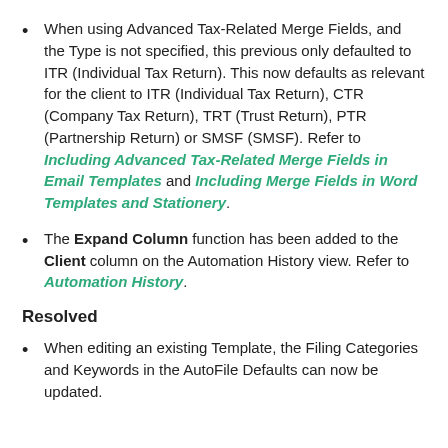When using Advanced Tax-Related Merge Fields, and the Type is not specified, this previous only defaulted to ITR (Individual Tax Return). This now defaults as relevant for the client to ITR (Individual Tax Return), CTR (Company Tax Return), TRT (Trust Return), PTR (Partnership Return) or SMSF (SMSF). Refer to Including Advanced Tax-Related Merge Fields in Email Templates and Including Merge Fields in Word Templates and Stationery.
The Expand Column function has been added to the Client column on the Automation History view. Refer to Automation History.
Resolved
When editing an existing Template, the Filing Categories and Keywords in the AutoFile Defaults can now be updated.